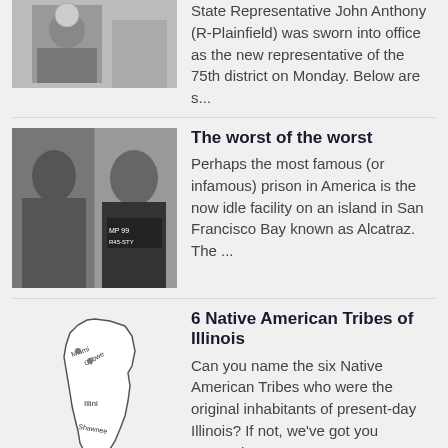State Representative John Anthony (R-Plainfield) was sworn into office as the new representative of the 75th district on Monday. Below are s...
The worst of the worst
Perhaps the most famous (or infamous) prison in America is the now idle facility on an island in San Francisco Bay known as Alcatraz. The ...
6 Native American Tribes of Illinois
Can you name the six Native American Tribes who were the original inhabitants of present-day Illinois? If not, we've got you covered! ...
Week in Review: Jobs, fire dept grants, Snap-chat settlement & more
JOBS Illinois metro area unemployment rates for July. The numbers reflect the overall Illinois unemployment numbers gathered for July 2022 ...